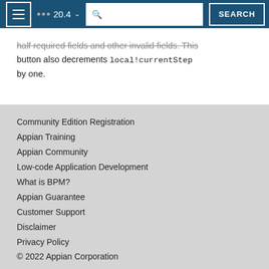20.4 SEARCH
half required fields and other invalid fields. This button also decrements local!currentStep by one.
Community Edition Registration
Appian Training
Appian Community
Low-code Application Development
What is BPM?
Appian Guarantee
Customer Support
Disclaimer
Privacy Policy
© 2022 Appian Corporation